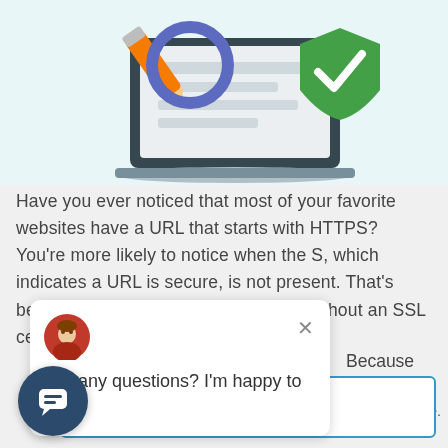[Figure (illustration): Illustration of a laptop monitor with a magnifying glass (pencil/orange) and a green shield with a checkmark, on a light teal background — representing website security / HTTPS / SSL certificate concept.]
Have you ever noticed that most of your favorite websites have a URL that starts with HTTPS? You’re more likely to notice when the S, which indicates a URL is secure, is not present. That’s because Google now flags websites without an SSL certificate–an important
Got any questions? I’m happy to help.
Because website
Consent
nd our service.
Accept